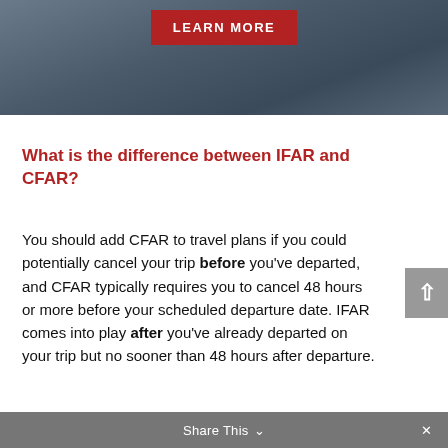[Figure (photo): Dark background image of hands/documents with a red 'LEARN MORE' button overlay]
What is the difference between IFAR and CFAR?
You should add CFAR to travel plans if you could potentially cancel your trip before you've departed, and CFAR typically requires you to cancel 48 hours or more before your scheduled departure date. IFAR comes into play after you've already departed on your trip but no sooner than 48 hours after departure.
Share This ∨  ×